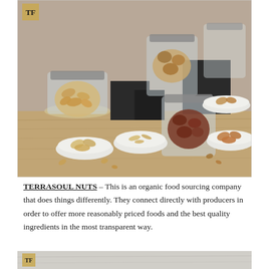[Figure (photo): Mason jars filled with various nuts (cashews, pecans, walnuts) arranged on black blocks with small white bowls of nuts in front, on a wooden surface. Small TF logo in upper left corner.]
TERRASOUL NUTS – This is an organic food sourcing company that does things differently. They connect directly with producers in order to offer more reasonably priced foods and the best quality ingredients in the most transparent way.
[Figure (photo): Partial view of another Terrasoul Nuts photo with TF logo visible in upper left corner, on a marble or stone surface.]